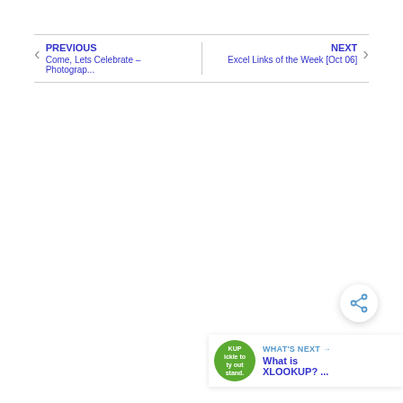PREVIOUS
Come, Lets Celebrate – Photograp...
NEXT
Excel Links of the Week [Oct 06]
[Figure (other): Share button icon (network share symbol)]
WHAT'S NEXT → What is XLOOKUP? ...